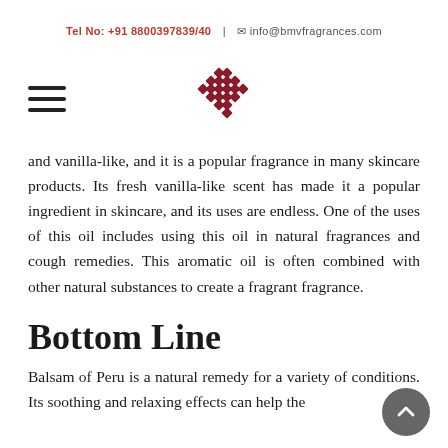Tel No: +91 8800397839/40 | info@bmvfragrances.com
[Figure (logo): BMV Fragrances decorative diamond/knot logo in dark red]
and vanilla-like, and it is a popular fragrance in many skincare products. Its fresh vanilla-like scent has made it a popular ingredient in skincare, and its uses are endless. One of the uses of this oil includes using this oil in natural fragrances and cough remedies. This aromatic oil is often combined with other natural substances to create a fragrant fragrance.
Bottom Line
Balsam of Peru is a natural remedy for a variety of conditions. Its soothing and relaxing effects can help the